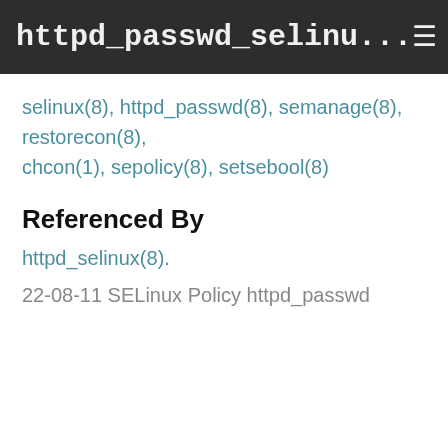httpd_passwd_selinu...
selinux(8), httpd_passwd(8), semanage(8), restorecon(8), chcon(1), sepolicy(8), setsebool(8)
Referenced By
httpd_selinux(8).
22-08-11 SELinux Policy httpd_passwd